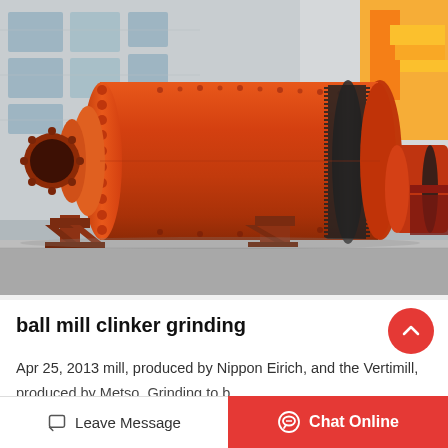[Figure (photo): Photograph of a large orange industrial ball mill used for clinker grinding, shown in a factory yard. The mill is a large horizontal cylindrical drum with a gear ring, feed inlet, and structural support frame. A yellow crane is visible in the background on the right. Another mill is partially visible at the far right.]
ball mill clinker grinding
Apr 25, 2013 mill, produced by Nippon Eirich, and the Vertimill,
produced by Metso. Grinding to b